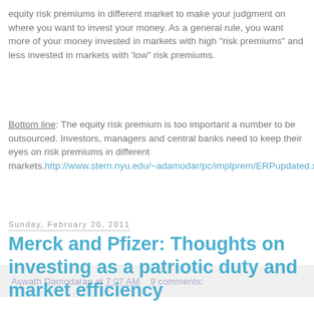equity risk premiums in different market to make your judgment on where you want to invest your money. As a general rule, you want more of your money invested in markets with high "risk premiums" and less invested in markets with 'low" risk premiums.
Bottom line: The equity risk premium is too important a number to be outsourced. Investors, managers and central banks need to keep their eyes on risk premiums in different markets. http://www.stern.nyu.edu/~adamodar/pc/implprem/ERPupdated.xl
Aswath Damodaran at 7:07 AM   9 comments:
Sunday, February 20, 2011
Merck and Pfizer: Thoughts on investing as a patriotic duty and market efficiency